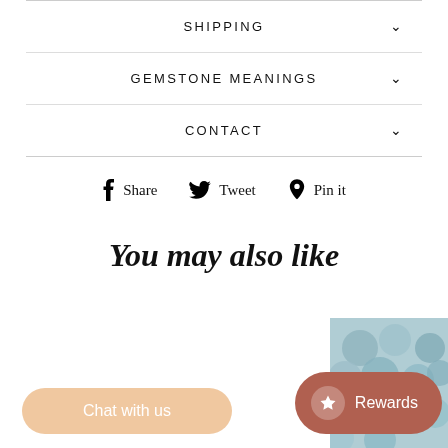SHIPPING
GEMSTONE MEANINGS
CONTACT
Share  Tweet  Pin it
You may also like
Chat with us
Rewards
[Figure (photo): Corner image showing gemstones/beads in teal/grey colors]